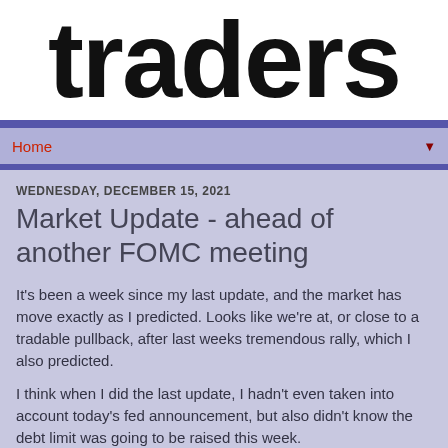traders
Home
WEDNESDAY, DECEMBER 15, 2021
Market Update - ahead of another FOMC meeting
It's been a week since my last update, and the market has move exactly as I predicted. Looks like we're at, or close to a tradable pullback, after last weeks tremendous rally, which I also predicted.
I think when I did the last update, I hadn't even taken into account today's fed announcement, but also didn't know the debt limit was going to be raised this week.